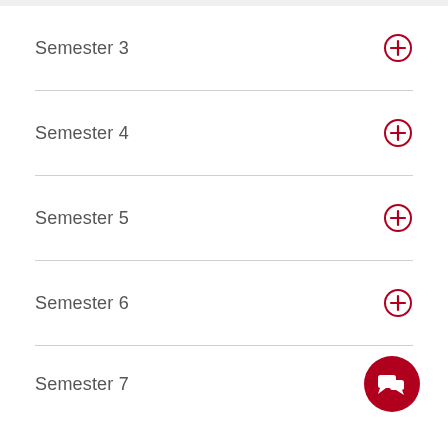Semester 3
Semester 4
Semester 5
Semester 6
Semester 7